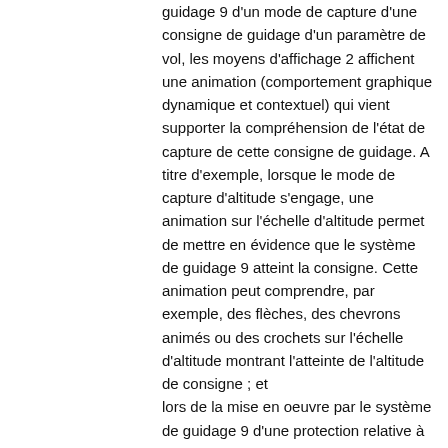guidage 9 d'un mode de capture d'une consigne de guidage d'un paramètre de vol, les moyens d'affichage 2 affichent une animation (comportement graphique dynamique et contextuel) qui vient supporter la compréhension de l'état de capture de cette consigne de guidage. A titre d'exemple, lorsque le mode de capture d'altitude s'engage, une animation sur l'échelle d'altitude permet de mettre en évidence que le système de guidage 9 atteint la consigne. Cette animation peut comprendre, par exemple, des flèches, des chevrons animés ou des crochets sur l'échelle d'altitude montrant l'atteinte de l'altitude de consigne ; et lors de la mise en oeuvre par le système de guidage 9 d'une protection relative à un paramètre de vol, les moyens d'affichage 2 affichent une animation (comportement graphique dynamique et contextuel) qui vient supporter l'explication du comportement du système de guidage 9 pour montrer clairement ce qui est protégé par le système 9. A titre d'exemple, lors d'une protection de vitesse minimum (pour protéger du